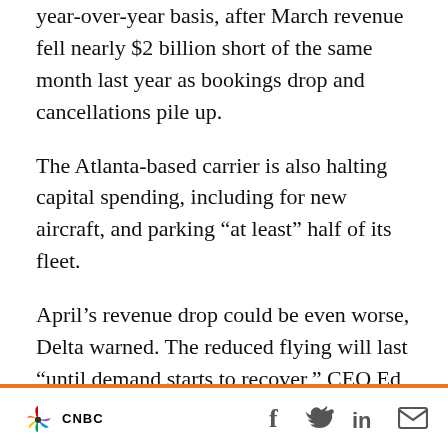year-over-year basis, after March revenue fell nearly $2 billion short of the same month last year as bookings drop and cancellations pile up.
The Atlanta-based carrier is also halting capital spending, including for new aircraft, and parking “at least” half of its fleet.
April’s revenue drop could be even worse, Delta warned. The reduced flying will last “until demand starts to recover,” CEO Ed Bastian told employees.
“Our international operation will take the largest reduction, with over 80% of flying reduced over
CNBC